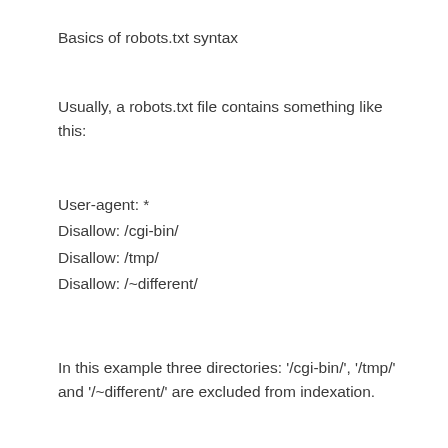Basics of robots.txt syntax
Usually, a robots.txt file contains something like this:
User-agent: *
Disallow: /cgi-bin/
Disallow: /tmp/
Disallow: /~different/
In this example three directories: '/cgi-bin/', '/tmp/' and '/~different/' are excluded from indexation.
NOTE: Every directory is written on a separate line. You can't write 'Disallow: /cgi-bin/ /tmp/' in one line, nor can you break up one directive Disallow or User-agent into